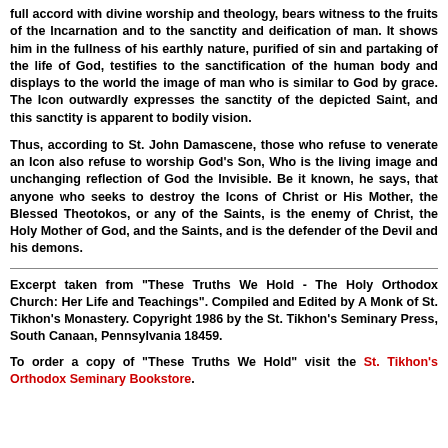full accord with divine worship and theology, bears witness to the fruits of the Incarnation and to the sanctity and deification of man. It shows him in the fullness of his earthly nature, purified of sin and partaking of the life of God, testifies to the sanctification of the human body and displays to the world the image of man who is similar to God by grace. The Icon outwardly expresses the sanctity of the depicted Saint, and this sanctity is apparent to bodily vision.
Thus, according to St. John Damascene, those who refuse to venerate an Icon also refuse to worship God's Son, Who is the living image and unchanging reflection of God the Invisible. Be it known, he says, that anyone who seeks to destroy the Icons of Christ or His Mother, the Blessed Theotokos, or any of the Saints, is the enemy of Christ, the Holy Mother of God, and the Saints, and is the defender of the Devil and his demons.
Excerpt taken from "These Truths We Hold - The Holy Orthodox Church: Her Life and Teachings". Compiled and Edited by A Monk of St. Tikhon's Monastery. Copyright 1986 by the St. Tikhon's Seminary Press, South Canaan, Pennsylvania 18459.
To order a copy of "These Truths We Hold" visit the St. Tikhon's Orthodox Seminary Bookstore.